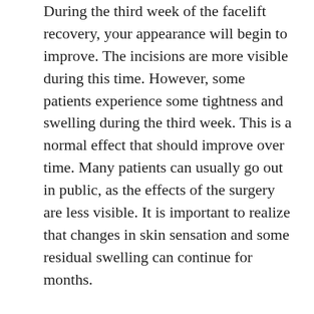During the third week of the facelift recovery, your appearance will begin to improve. The incisions are more visible during this time. However, some patients experience some tightness and swelling during the third week. This is a normal effect that should improve over time. Many patients can usually go out in public, as the effects of the surgery are less visible. It is important to realize that changes in skin sensation and some residual swelling can continue for months.
After Week Four
After the fourth week, there is marked improvement, and you should be ready to resume most of your daily activities. You can apply makeup without worrying. You can also resume hair styling and